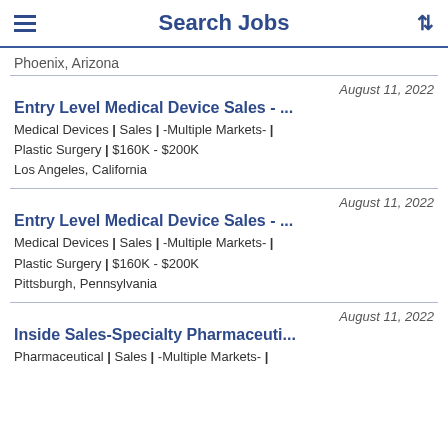Search Jobs
Phoenix, Arizona
August 11, 2022
Entry Level Medical Device Sales - ...
Medical Devices | Sales | -Multiple Markets- | Plastic Surgery | $160K - $200K
Los Angeles, California
August 11, 2022
Entry Level Medical Device Sales - ...
Medical Devices | Sales | -Multiple Markets- | Plastic Surgery | $160K - $200K
Pittsburgh, Pennsylvania
August 11, 2022
Inside Sales-Specialty Pharmaceuti...
Pharmaceutical | Sales | -Multiple Markets- |